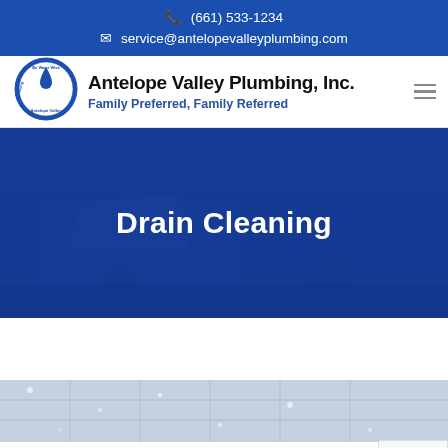📞 (661) 533-1234
✉ service@antelopevalleyplumbing.com
[Figure (logo): Antelope Valley Plumbing circular logo with water drop and text 'Be Water Wise · Antelope Valley · Plumbing']
Antelope Valley Plumbing, Inc.
Family Preferred, Family Referred
[Figure (photo): Hero banner showing a truck or plumbing equipment with blue overlay and 'Drain Cleaning' text]
Drain Cleaning
[Figure (photo): Wet tile floor with water droplets, partially visible at bottom of page]
[Figure (other): reCAPTCHA badge with Google logo, Privacy and Terms links]